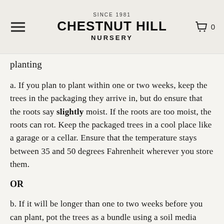SINCE 1981 CHESTNUT HILL NURSERY
planting
a. If you plan to plant within one or two weeks, keep the trees in the packaging they arrive in, but do ensure that the roots say slightly moist. If the roots are too moist, the roots can rot. Keep the packaged trees in a cool place like a garage or a cellar. Ensure that the temperature stays between 35 and 50 degrees Fahrenheit wherever you store them.
OR
b. If it will be longer than one to two weeks before you can plant, pot the trees as a bundle using a soil media such as native soil, hay, sawdust, peat, or potting soil (without fertilizer). Store the trees in a cool, dark place like a garage